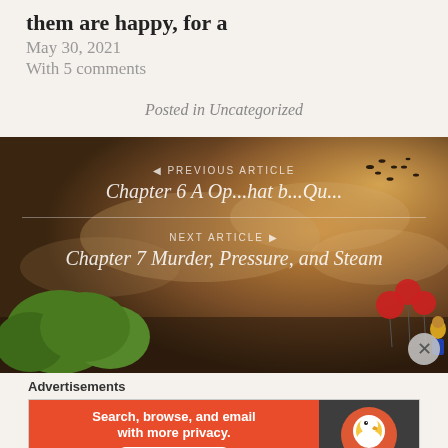them are happy, for a
May 30, 2021
With 5 comments
Posted in Uncategorized
[Figure (photo): Dark atmospheric background image with warm brown tones, birds flying, green trees in lower left, red balloons and a child in yellow shirt on right side. Navigation overlay showing previous article 'Chapter 6 A Op... hat b... Qu...' and next article 'Chapter 7 Murder, Pressure, and Steam'.]
Advertisements
[Figure (infographic): DuckDuckGo advertisement banner. Left side orange/red with text 'Search, browse, and email with more privacy. All in One Free App'. Right side dark with DuckDuckGo duck logo.]